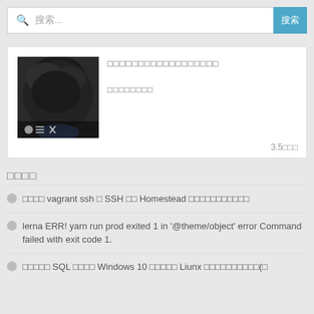搜索...
[Figure (photo): Profile photo showing back of person's head with dark hair, with image control overlay icons at bottom]
□□□□□□□□□□□□□□□□□□
□□□□□□□□
3.5□□□
□□□□
□□□□ vagrant ssh □ SSH □□ Homestead □□□□□□□□□□□
lerna ERR! yarn run prod exited 1 in '@theme/object' error Command failed with exit code 1.
□□□□□ SQL □□□□ Windows 10 □□□□□ Liunx □□□□□□□□□□(□